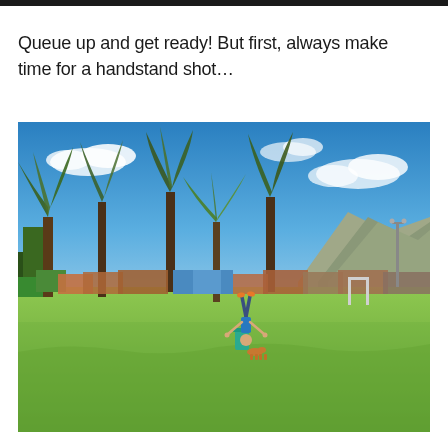Queue up and get ready! But first, always make time for a handstand shot…
[Figure (photo): Outdoor photo of a large grassy field with tall trees behind it, colorful small buildings and structures in the background, rocky hills/mountains on the right, bright blue sky with white clouds. A person appears to be doing a handstand in the middle of the field, with a small teal/cyan colored object nearby.]